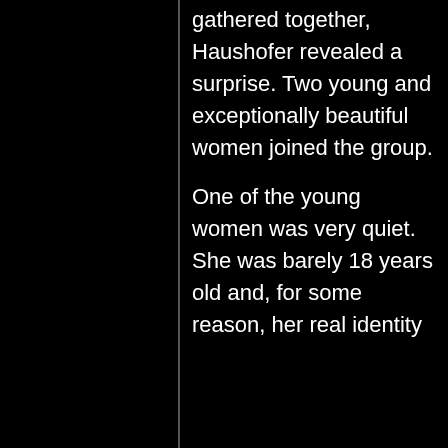gathered together, Haushofer revealed a surprise. Two young and exceptionally beautiful women joined the group.
One of the young women was very quiet. She was barely 18 years old and, for some reason, her real identity